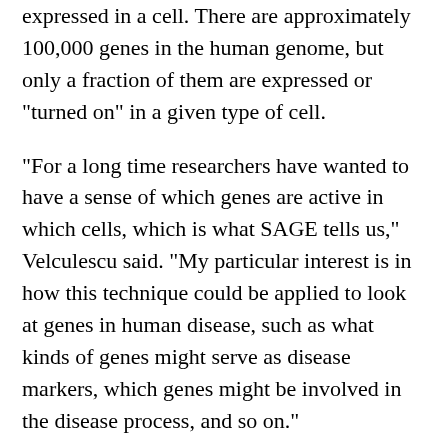expressed in a cell. There are approximately 100,000 genes in the human genome, but only a fraction of them are expressed or "turned on" in a given type of cell.
"For a long time researchers have wanted to have a sense of which genes are active in which cells, which is what SAGE tells us," Velculescu said. "My particular interest is in how this technique could be applied to look at genes in human disease, such as what kinds of genes might serve as disease markers, which genes might be involved in the disease process, and so on."
The technique works by identifying a unique marker or tag of nucleotides (the building blocks of DNA) in a gene's transcript, which is the molecule that is produced when a gene begins to copy itself--a sign of gene expression. These molecular tags are then spliced together to form one long DNA molecule. By sequencing this long DNA strand,